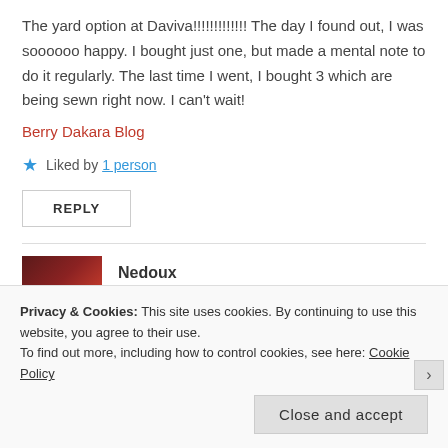The yard option at Daviva!!!!!!!!!!!!! The day I found out, I was soooooo happy. I bought just one, but made a mental note to do it regularly. The last time I went, I bought 3 which are being sewn right now. I can't wait!
Berry Dakara Blog
★ Liked by 1 person
REPLY
Nedoux
November 25, 2015 at 18:18
Privacy & Cookies: This site uses cookies. By continuing to use this website, you agree to their use.
To find out more, including how to control cookies, see here: Cookie Policy
Close and accept